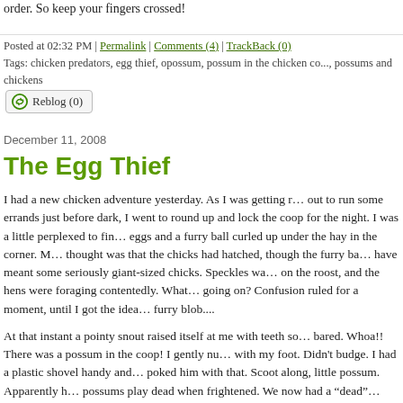order. So keep your fingers crossed!
Posted at 02:32 PM | Permalink | Comments (4) | TrackBack (0)
Tags: chicken predators, egg thief, opossum, possum in the chicken co..., possums and chickens
Reblog (0)
December 11, 2008
The Egg Thief
I had a new chicken adventure yesterday. As I was getting r... out to run some errands just before dark, I went to round up and lock the coop for the night. I was a little perplexed to fin... eggs and a furry ball curled up under the hay in the corner. M... thought was that the chicks had hatched, though the furry ba... have meant some seriously giant-sized chicks. Speckles wa... on the roost, and the hens were foraging contentedly. What going on? Confusion ruled for a moment, until I got the idea... furry blob....
At that instant a pointy snout raised itself at me with teeth so bared. Whoa!! There was a possum in the coop! I gently nu... with my foot. Didn't budge. I had a plastic shovel handy and poked him with that. Scoot along, little possum. Apparently h... possums play dead when frightened. We now had a "dead" darn it, if he didn't just sit there no matter what I did, playing... little snarl thrown in now and again for good measure.
I quickly racked my brain, trying to remember if possums h...